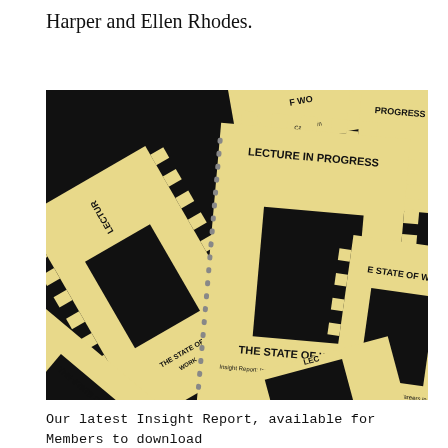Harper and Ellen Rhodes.
[Figure (photo): Photograph of multiple spiral-bound publications with gear-shaped covers in cream/yellow color on a black background. The publications are titled 'LECTURE IN PROGRESS' and 'THE STATE OF WORK - Insight Report: Issues Affecting Creative Careers in 2018', scattered and overlapping on a dark surface.]
Our latest Insight Report, available for Members to download from the Members Area of the site